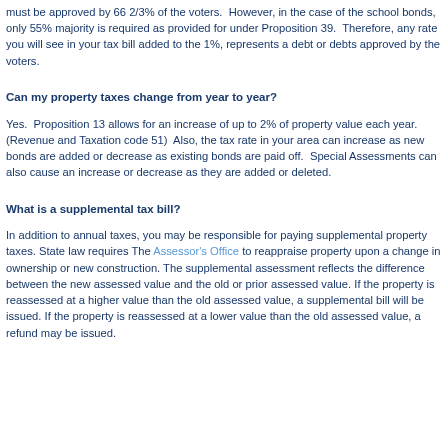must be approved by 66 2/3% of the voters.  However, in the case of the school bonds, only 55% majority is required as provided for under Proposition 39.  Therefore, any rate you will see in your tax bill added to the 1%, represents a debt or debts approved by the voters.
Can my property taxes change from year to year?
Yes.  Proposition 13 allows for an increase of up to 2% of property value each year. (Revenue and Taxation code 51)  Also, the tax rate in your area can increase as new bonds are added or decrease as existing bonds are paid off.  Special Assessments can also cause an increase or decrease as they are added or deleted.
What is a supplemental tax bill?
In addition to annual taxes, you may be responsible for paying supplemental property taxes. State law requires The Assessor's Office to reappraise property upon a change in ownership or new construction. The supplemental assessment reflects the difference between the new assessed value and the old or prior assessed value. If the property is reassessed at a higher value than the old assessed value, a supplemental bill will be issued. If the property is reassessed at a lower value than the old assessed value, a refund may be issued.